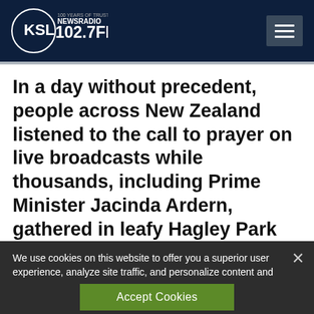[Figure (logo): KSL NewsRadio 102.7 FM logo — circular logo with KSL text and '100 Years of Trust' tagline, white on dark navy background]
In a day without precedent, people across New Zealand listened to the call to prayer on live broadcasts while thousands, including Prime Minister Jacinda Ardern, gathered in leafy Hagley Park opposite the Al Noor
We use cookies on this website to offer you a superior user experience, analyze site traffic, and personalize content and advertisements. By continuing to use our site, you consent to our use of cookies. Please visit our Privacy Policy for more information.
Accept Cookies